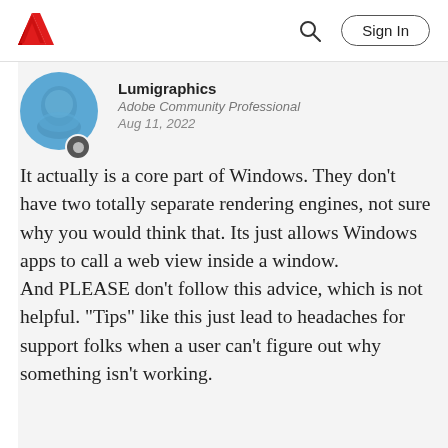[Figure (logo): Adobe logo - red triangle with white A shape]
Sign In
[Figure (photo): User avatar - blue circular profile photo for Lumigraphics]
Lumigraphics
Adobe Community Professional
Aug 11, 2022
It actually is a core part of Windows. They don't have two totally separate rendering engines, not sure why you would think that. Its just allows Windows apps to call a web view inside a window.
And PLEASE don't follow this advice, which is not helpful. "Tips" like this just lead to headaches for support folks when a user can't figure out why something isn't working.